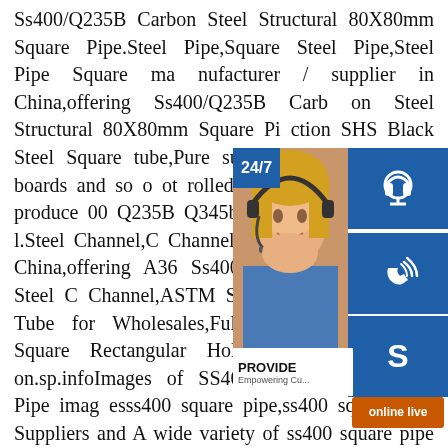Ss400/Q235B Carbon Steel Structural 80X80mm Square Pipe.Steel Pipe,Square Steel Pipe,Steel Pipe Square manufacturer / supplier in China,offering Ss400/Q235B Carbon Steel Structural 80X80mm Square Pipe,Cold-ction SHS Black Steel Square tube,Pure sulation XPS wall foam boards and so ot rolled carbon carbon steel c channel producer 00 Q235B Q345b S235jr S355 Structural.Steel Channel,C Channel,Steel Profile upplier in China,offering A36 Ss400 Q235 S355 Structural Steel C Channel,ASTM Steel Square/Rectangular Tube for Wholesales,Full Black Tube Round Square Rectangular Hollow Section and so on.sp.infoImages of SS400 ERW Steel Square Pipe imagesss400 square pipe,ss400 square pipe Suppliers and A wide variety of ss400 square pipe options are available to
[Figure (infographic): Customer service widget with a woman wearing a headset, blue buttons for 24/7 service (headset icon), phone/call icon, Skype icon, PROVIDE Empowering Customers text, and an orange 'online live' button.]